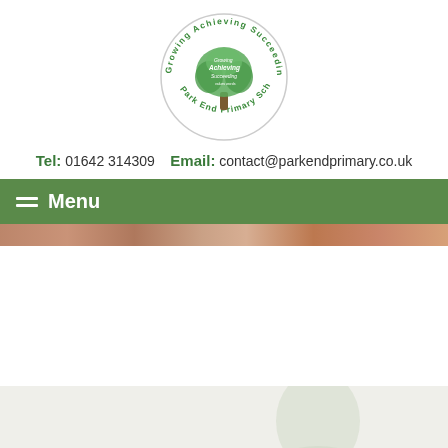[Figure (logo): Park End Primary School circular logo with tree wordcloud and text 'Growing Achieving Succeeding Park End Primary School' in green around the border]
Tel: 01642 314309   Email: contact@parkendprimary.co.uk
☰ Menu
[Figure (photo): Narrow horizontal photo strip showing children, partially visible]
[Figure (photo): Large light green silhouette of a person on a light grey background]
Mrs Ayre